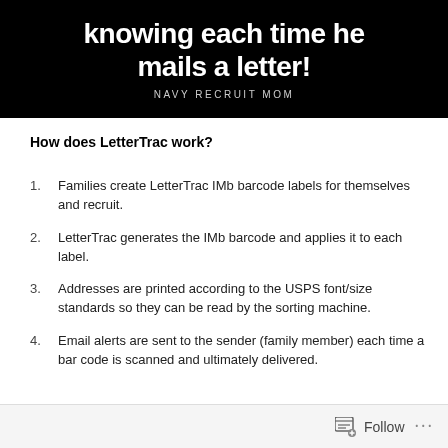[Figure (illustration): Dark banner with white bold text reading 'knowing each time he mails a letter!' and subtitle 'NAVY RECRUIT MOM' in small caps below]
How does LetterTrac work?
Families create LetterTrac IMb barcode labels for themselves and recruit.
LetterTrac generates the IMb barcode and applies it to each label.
Addresses are printed according to the USPS font/size standards so they can be read by the sorting machine.
Email alerts are sent to the sender (family member) each time a bar code is scanned and ultimately delivered.
Follow ...